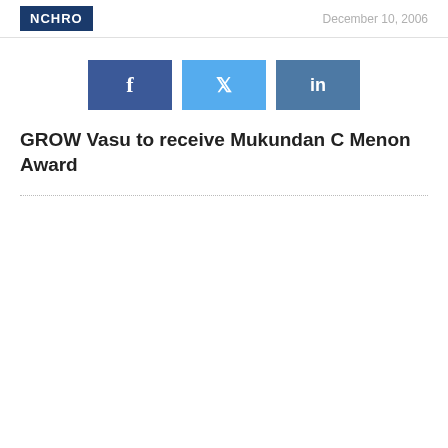NCHRO — December 10, 2006
[Figure (infographic): Three social media share buttons: Facebook (dark blue, f icon), Twitter (light blue, bird icon), LinkedIn (medium blue, in icon)]
GROW Vasu to receive Mukundan C Menon Award